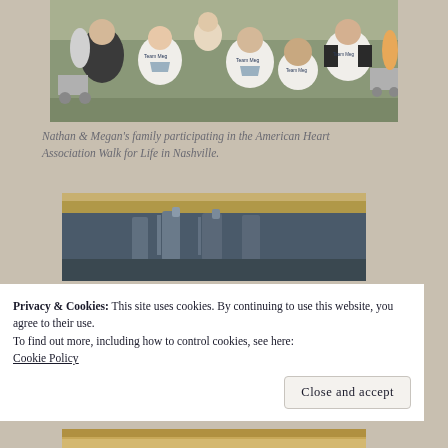[Figure (photo): Group photo of Nathan and Megan's family wearing white 'Team Meg' raglan baseball shirts at an outdoor walk event, with a crowd in the background.]
Nathan & Megan's family participating in the American Heart Association Walk for Life in Nashville.
[Figure (photo): Close-up blurred photo showing what appears to be bottles or containers on a sandy or wooden surface.]
Privacy & Cookies: This site uses cookies. By continuing to use this website, you agree to their use.
To find out more, including how to control cookies, see here: Cookie Policy
[Figure (photo): Partial bottom photo, appears to show a food or baked item.]